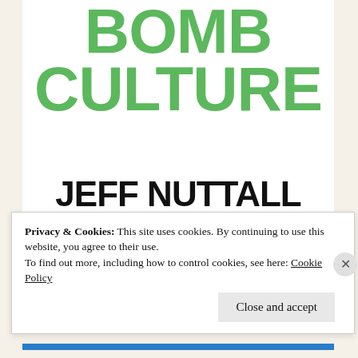[Figure (illustration): Book cover of 'Bomb Culture' by Jeff Nuttall. Large green bold text reads 'BOMB CULTURE' at the top, followed by the author name 'JEFF NUTTALL' in large black bold text. Below is a black and white ink illustration of a crouching human figure.]
Privacy & Cookies: This site uses cookies. By continuing to use this website, you agree to their use.
To find out more, including how to control cookies, see here: Cookie Policy
Close and accept